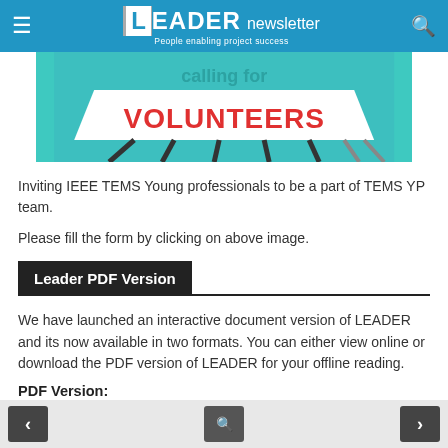LEADER newsletter — People enabling project success
[Figure (illustration): Teal/turquoise banner image showing the word VOLUNTEERS in red bold text on a white sign, with dark diagonal lines suggesting a crowd or tent stakes below, on a teal background. Top text partially visible: 'calling for'.]
Inviting IEEE TEMS Young professionals to be a part of TEMS YP team.
Please fill the form by clicking on above image.
Leader PDF Version
We have launched an interactive document version of LEADER and its now available in two formats. You can either view online or download the PDF version of LEADER for your offline reading.
PDF Version:
< [search icon] >